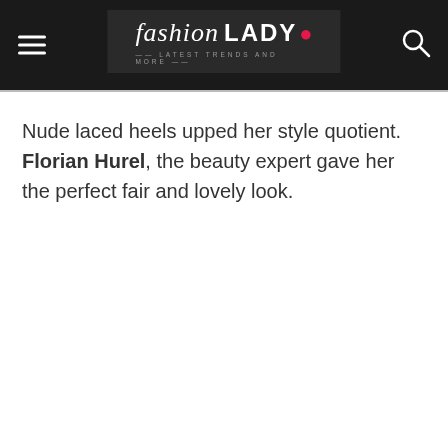fashion LADY — Latest Trends and More —
Nude laced heels upped her style quotient. Florian Hurel, the beauty expert gave her the perfect fair and lovely look.